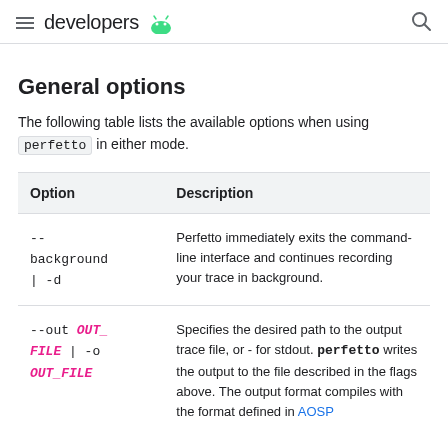developers
General options
The following table lists the available options when using perfetto in either mode.
| Option | Description |
| --- | --- |
| --background | -d | Perfetto immediately exits the command-line interface and continues recording your trace in background. |
| --out OUT_FILE | -o OUT_FILE | Specifies the desired path to the output trace file, or - for stdout. perfetto writes the output to the file described in the flags above. The output format compiles with the format defined in AOSP |